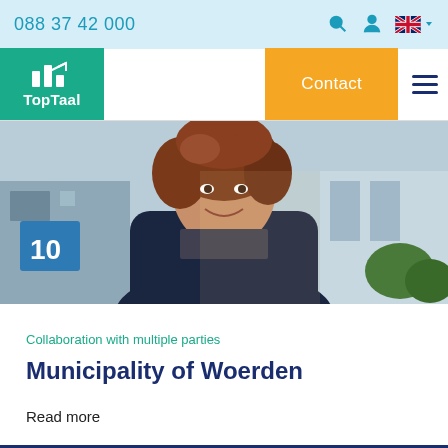088 37 42 000
[Figure (logo): TopTaal logo — green square with white chart/arrow icon and TopTaal text below]
Contact
[Figure (photo): Smiling middle-aged woman with curly auburn hair, wearing a dark navy jacket, standing outdoors in front of a building with a sign showing number 10]
Collaboration with multiple parties
Municipality of Woerden
Read more